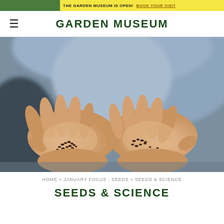THE GARDEN MUSEUM IS OPEN! BOOK YOUR VISIT
GARDEN MUSEUM
[Figure (photo): Close-up photo of two cupped hands held together, each palm holding small dark seeds against a blurred background of a person wearing a light blue shirt.]
Home » January Focus : Seeds » Seeds & Science
SEEDS & SCIENCE